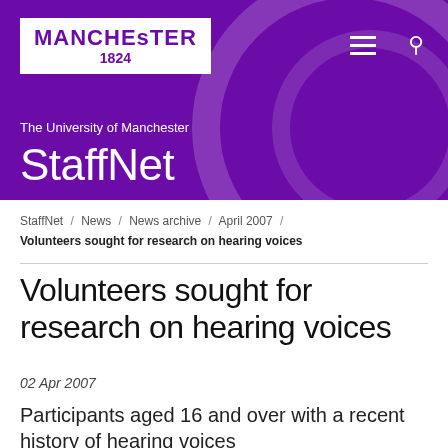[Figure (logo): University of Manchester logo with white background, purple text reading MANCHESTER 1824, with tagline 'The University of Manchester' and StaffNet heading on purple banner background]
StaffNet
StaffNet / News / News archive / April 2007 / Volunteers sought for research on hearing voices
Volunteers sought for research on hearing voices
02 Apr 2007
Participants aged 16 and over with a recent history of hearing voices